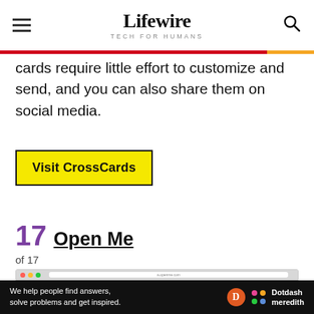Lifewire TECH FOR HUMANS
cards require little effort to customize and send, and you can also share them on social media.
Visit CrossCards
17  Open Me
of 17
[Figure (screenshot): Screenshot of Open Me graduation free ecards website showing colorful banner with GRADUATION text, a laptop, owl with graduation cap, and FREE ECARDS text]
We help people find answers, solve problems and get inspired. Dotdash meredith